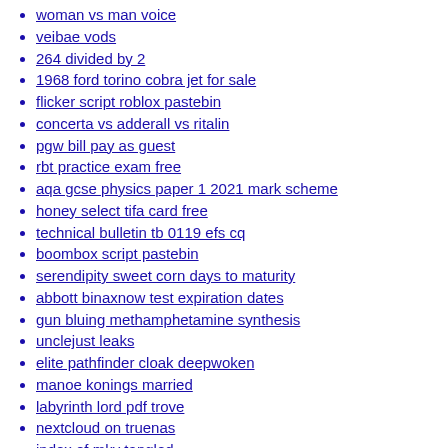woman vs man voice
veibae vods
264 divided by 2
1968 ford torino cobra jet for sale
flicker script roblox pastebin
concerta vs adderall vs ritalin
pgw bill pay as guest
rbt practice exam free
aqa gcse physics paper 1 2021 mark scheme
honey select tifa card free
technical bulletin tb 0119 efs cq
boombox script pastebin
serendipity sweet corn days to maturity
abbott binaxnow test expiration dates
gun bluing methamphetamine synthesis
unclejust leaks
elite pathfinder cloak deepwoken
manoe konings married
labyrinth lord pdf trove
nextcloud on truenas
index of mkv tangled
specify which government interventions cause a consumer or producer surplus
heart of the nation catholic mass today
random chat app free